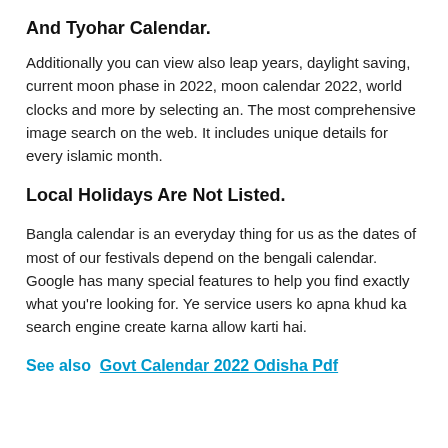And Tyohar Calendar.
Additionally you can view also leap years, daylight saving, current moon phase in 2022, moon calendar 2022, world clocks and more by selecting an. The most comprehensive image search on the web. It includes unique details for every islamic month.
Local Holidays Are Not Listed.
Bangla calendar is an everyday thing for us as the dates of most of our festivals depend on the bengali calendar. Google has many special features to help you find exactly what you're looking for. Ye service users ko apna khud ka search engine create karna allow karti hai.
See also  Govt Calendar 2022 Odisha Pdf